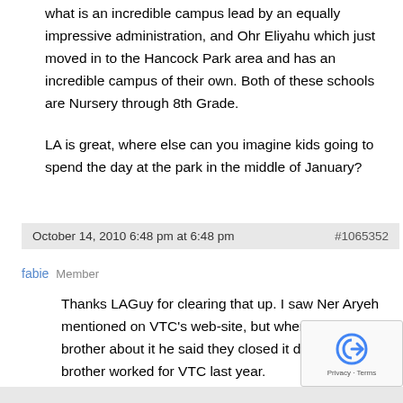what is an incredible campus lead by an equally impressive administration, and Ohr Eliyahu which just moved in to the Hancock Park area and has an incredible campus of their own. Both of these schools are Nursery through 8th Grade.
LA is great, where else can you imagine kids going to spend the day at the park in the middle of January?
October 14, 2010 6:48 pm at 6:48 pm  #1065352
fabie  Member
Thanks LAGuy for clearing that up. I saw Ner Aryeh mentioned on VTC's web-site, but when I asked my brother about it he said they closed it down. My brother worked for VTC last year.